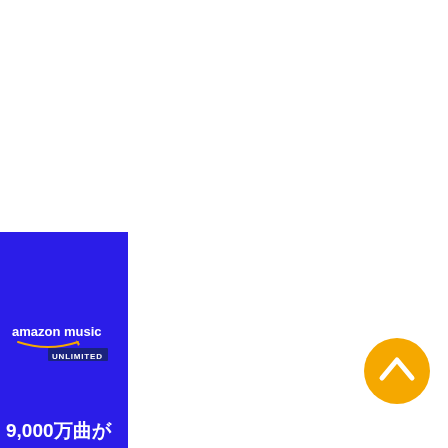[Figure (logo): Amazon Music Unlimited logo on blue background panel, with Japanese text partially visible at bottom reading '9,000万曲が']
[Figure (infographic): Yellow circular button with white upward-pointing chevron arrow, positioned at right side of page]